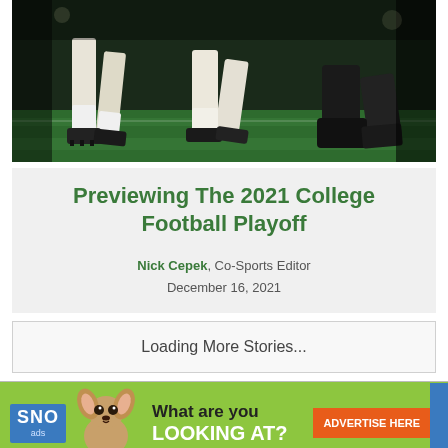[Figure (photo): Football players' legs on a green turf field during a game]
Previewing The 2021 College Football Playoff
Nick Cepek, Co-Sports Editor
December 16, 2021
Loading More Stories...
[Figure (infographic): SNO ads banner advertisement with a chihuahua dog image, text 'What are you LOOKING AT?' and an 'ADVERTISE HERE' button]
The Sage • © 2022 • Advertise • FLEX Pro WordPress Theme by SNO • Log in